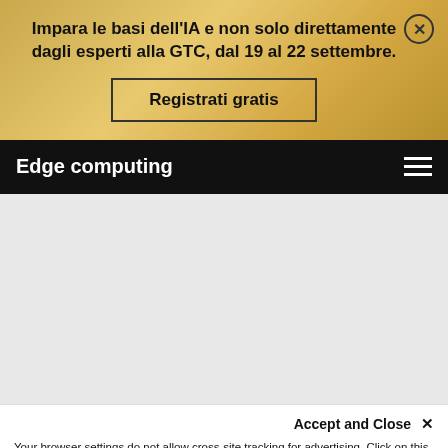Impara le basi dell'IA e non solo direttamente dagli esperti alla GTC, dal 19 al 22 settembre.
Registrati gratis
Edge computing
Accept and Close ×
Your browser settings do not allow cross-site tracking for advertising. Click on this page to allow AdRoll to use cross-site tracking to tailor ads to you. Learn more or opt out of this AdRoll tracking by clicking here. This message only appears once.